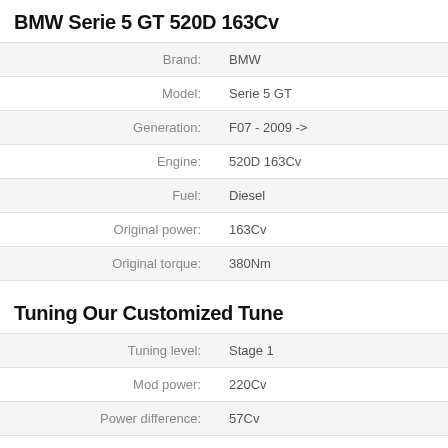BMW Serie 5 GT 520D 163Cv
| Label | Value |
| --- | --- |
| Brand: | BMW |
| Model: | Serie 5 GT |
| Generation: | F07 - 2009 -> |
| Engine: | 520D 163Cv |
| Fuel: | Diesel |
| Original power: | 163Cv |
| Original torque: | 380Nm |
Tuning Our Customized Tune
| Label | Value |
| --- | --- |
| Tuning level: | Stage 1 |
| Mod power: | 220Cv |
| Power difference: | 57Cv |